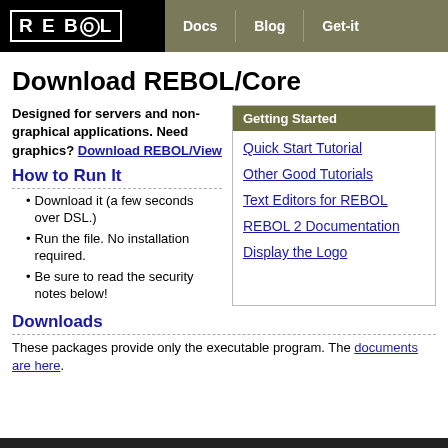REBOL | Docs | Blog | Get-it
Download REBOL/Core
Designed for servers and non-graphical applications. Need graphics? Download REBOL/View
Getting Started
Quick Start Tutorial
Other Good Tutorials
Text Editors for REBOL
REBOL 2 Documentation
Display the Logo
How to Run It
Download it (a few seconds over DSL.)
Run the file. No installation required.
Be sure to read the security notes below!
Downloads
These packages provide only the executable program. The documents are here.